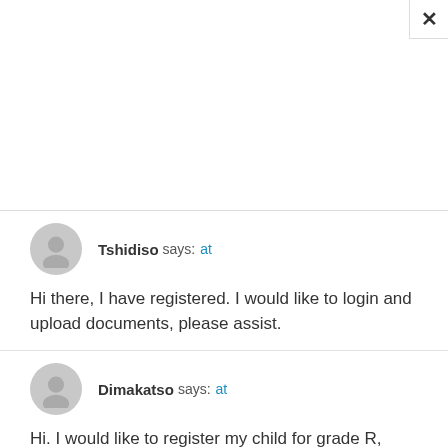Tshidiso says: at
Hi there, I have registered. I would like to login and upload documents, please assist.
Dimakatso says: at
Hi. I would like to register my child for grade R, please assist and advice me on how to go about because I seem to be running into problems everytime I try.
Thank you in advance.
Tirhani Norman Baloyi says: at
I have been struggling to log in because the portal is not user friendly. To cover both computer literate and not it should be taking the application straight to fill in and submit the relevant documents. As it is I did not manage to